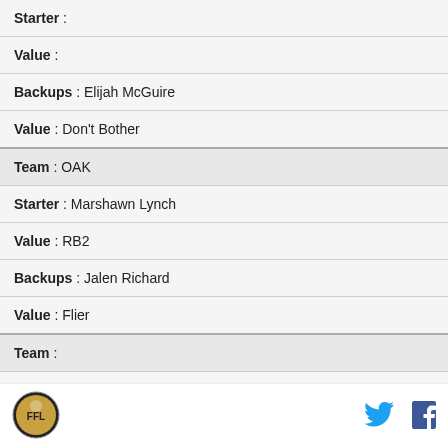| Starter : |
| Value : |
| Backups : Elijah McGuire |
| Value : Don't Bother |
| Team : OAK |
| Starter : Marshawn Lynch |
| Value : RB2 |
| Backups : Jalen Richard |
| Value : Flier |
| Team : |
| Starter : |
[Figure (logo): Round logo with illustration]
[Figure (logo): Twitter bird icon]
[Figure (logo): Facebook f icon]